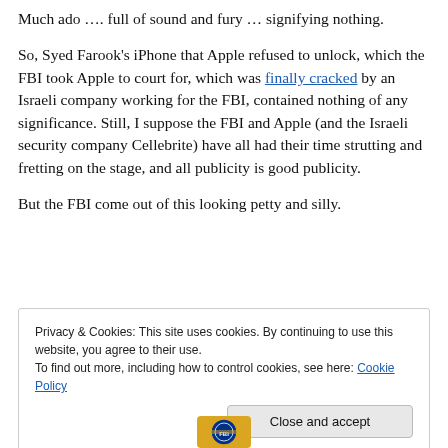Much ado …. full of sound and fury … signifying nothing.
So, Syed Farook's iPhone that Apple refused to unlock, which the FBI took Apple to court for, which was finally cracked by an Israeli company working for the FBI, contained nothing of any significance. Still, I suppose the FBI and Apple (and the Israeli security company Cellebrite) have all had their time strutting and fretting on the stage, and all publicity is good publicity.
But the FBI come out of this looking petty and silly.
Privacy & Cookies: This site uses cookies. By continuing to use this website, you agree to their use.
To find out more, including how to control cookies, see here: Cookie Policy
[Figure (logo): FBI seal/logo partially visible at bottom center]